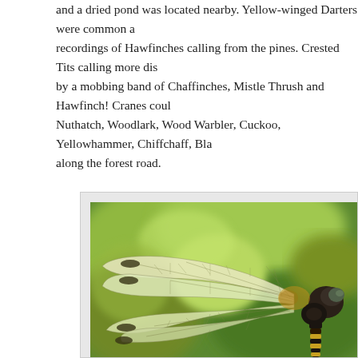and a dried pond was located nearby. Yellow-winged Darters were common and recordings of Hawfinches calling from the pines. Crested Tits calling more dis... by a mobbing band of Chaffinches, Mistle Thrush and Hawfinch! Cranes coul... Nuthatch, Woodlark, Wood Warbler, Cuckoo, Yellowhammer, Chiffchaff, Blac... along the forest road.
[Figure (photo): Close-up photograph of a dragonfly (likely a Yellow-winged Darter or similar species) perched, showing detailed wing venation against a blurred green background. The wings are translucent with visible veins, and dark patches (pterostigma) at the tips. The dragonfly's head and compound eyes are visible on the right side of the image.]